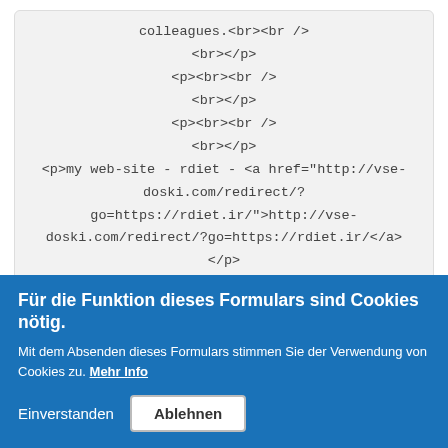colleagues.<br><br />
<br></p>
<p><br><br />
<br></p>
<p><br><br />
<br></p>
<p>my web-site - rdiet - <a href="http://vse-doski.com/redirect/?go=https://rdiet.ir/">http://vse-doski.com/redirect/?go=https://rdiet.ir/</a></p>
Geschrieben von Anonymous am 14. Juni 2022 - 4:43
<p>I don't even know how I ended up here, but I thought this
<br><br />
<br></p>
Für die Funktion dieses Formulars sind Cookies nötig.
Mit dem Absenden dieses Formulars stimmen Sie der Verwendung von Cookies zu. Mehr Info
Einverstanden
Ablehnen